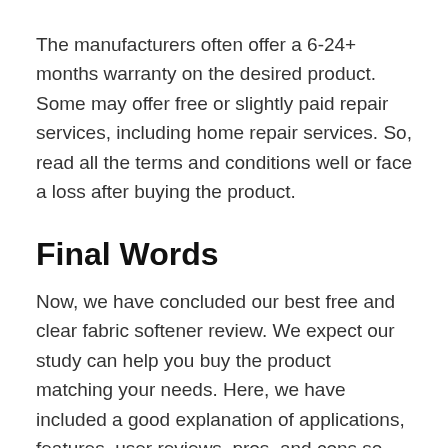The manufacturers often offer a 6-24+ months warranty on the desired product. Some may offer free or slightly paid repair services, including home repair services. So, read all the terms and conditions well or face a loss after buying the product.
Final Words
Now, we have concluded our best free and clear fabric softener review. We expect our study can help you buy the product matching your needs. Here, we have included a good explanation of applications, features, user reviews, pros, and cons so that you get top-quality products.